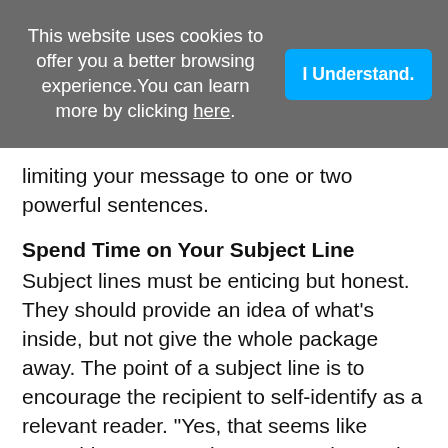This website uses cookies to offer you a better browsing experience.You can learn more by clicking here.
limiting your message to one or two powerful sentences.
Spend Time on Your Subject Line
Subject lines must be enticing but honest. They should provide an idea of what's inside, but not give the whole package away. The point of a subject line is to encourage the recipient to self-identify as a relevant reader. "Yes, that seems like something I want to know more about," the reader should say. Avoid gimmicks such as all caps or a row of punctuation, and use a subject line that